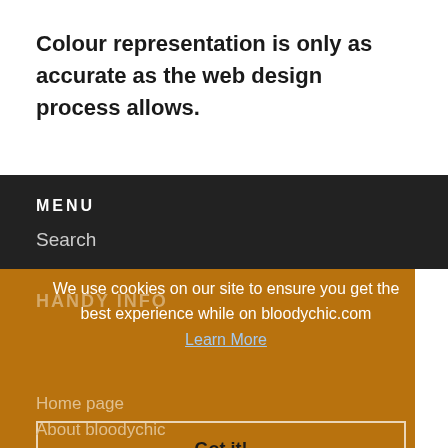Colour representation is only as accurate as the web design process allows.
MENU
Search
HANDY INFO
We use cookies on our site to ensure you get the best experience while on bloodychic.com
Learn More
Got it!
Home page
About bloodychic
T-shirt Collections
Posters
Policy Info